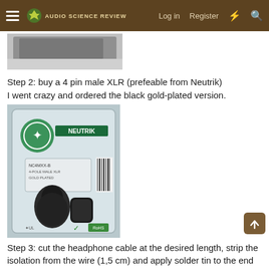Audio Science Review — Log in  Register
[Figure (photo): Top portion of a dark object photo, partially visible at top of page]
Step 2: buy a 4 pin male XLR (prefeable from Neutrik)
I went crazy and ordered the black gold-plated version.
[Figure (photo): Photo of a Neutrik NC4MXX-B black gold-plated 4-pin male XLR connector in its plastic packaging, showing the black connector body and associated hardware]
Step 3: cut the headphone cable at the desired length, strip the isolation from the wire (1,5 cm) and apply solder tin to the end of the wires.